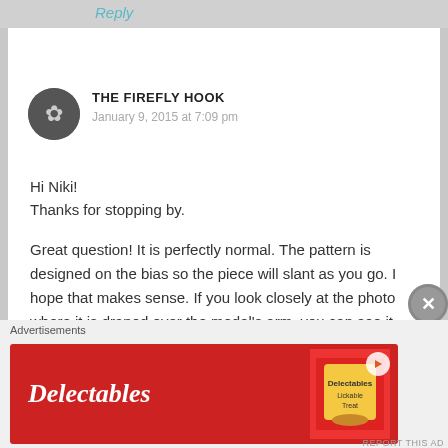Reply
THE FIREFLY HOOK
January 9, 2015 at 7:09 pm
Hi Niki!
Thanks for stopping by.

Great question! It is perfectly normal. The pattern is designed on the bias so the piece will slant as you go. I hope that makes sense. If you look closely at the photo where it is draped over the model's arm, you can see it pretty well. Let us know if you have
Advertisements
[Figure (photo): Delectables cat treat advertisement banner with red background, Delectables logo in white italic script, product image of Lickable Treat, and a play button icon]